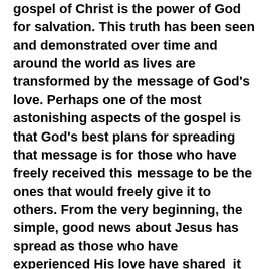gospel of Christ is the power of God for salvation. This truth has been seen and demonstrated over time and around the world as lives are transformed by the message of God's love. Perhaps one of the most astonishing aspects of the gospel is that God's best plans for spreading that message is for those who have freely received this message to be the ones that would freely give it to others. From the very beginning, the simple, good news about Jesus has spread as those who have experienced His love have shared  it with others.
Prayer walking is one way that everyday followers of Jesus can cooperate with God in